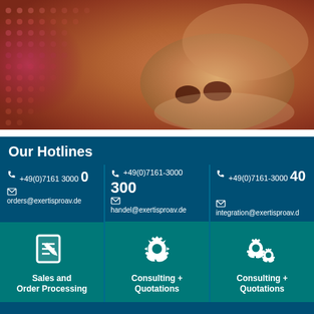[Figure (photo): Close-up photo of a lion's face/snout with pink dot overlay on the left side, warm amber/brown tones]
Our Hotlines
+49(0)7161 3000 0
orders@exertisproav.de
Sales and Order Processing
+49(0)7161-3000 300
handel@exertisproav.de
Consulting + Quotations
+49(0)7161-3000 400
integration@exertisproav.de
Consulting + Quotations